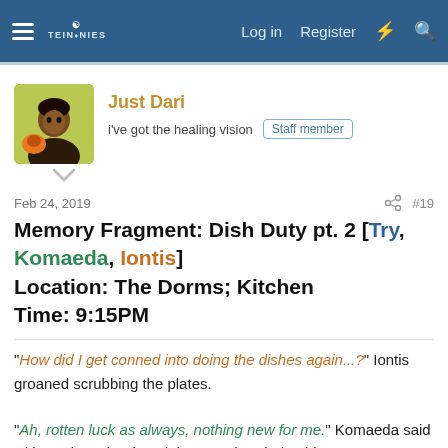Log in  Register
Just Dari
i've got the healing vision  Staff member
Feb 24, 2019   #19
Memory Fragment: Dish Duty pt. 2 [Try, Komaeda, Iontis]
Location: The Dorms; Kitchen
Time: 9:15PM
"How did I get conned into doing the dishes again...?" Iontis groaned scrubbing the plates.

"Ah, rotten luck as always, nothing new for me." Komaeda said with a grin as he rinsed the ones handed to him.